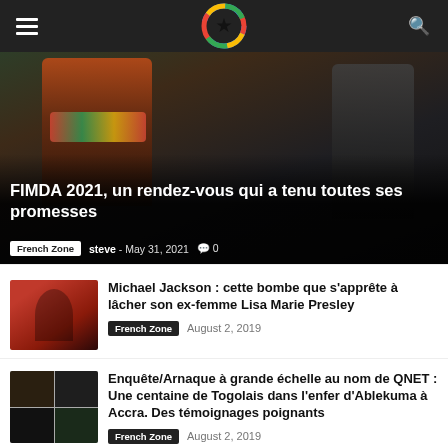Navigation header with logo G, menu and search icons
[Figure (photo): Hero image of fashion models at FIMDA 2021 event, dark background with two women in colorful and dark clothing]
FIMDA 2021, un rendez-vous qui a tenu toutes ses promesses
French Zone  steve - May 31, 2021  0
[Figure (photo): Thumbnail photo of Michael Jackson in red shirt]
Michael Jackson : cette bombe que s’apprête à lâcher son ex-femme Lisa Marie Presley
French Zone  August 2, 2019
[Figure (photo): Thumbnail collage of 4 images related to QNET investigation]
Enquête/Arnaque à grande échelle au nom de QNET : Une centaine de Togolais dans l’enfer d’Ablekuma à Accra. Des témoignages poignants
French Zone  August 2, 2019